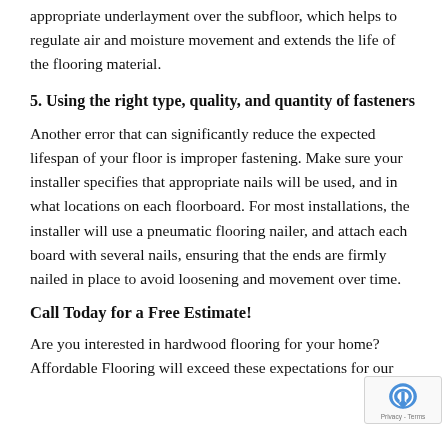appropriate underlayment over the subfloor, which helps to regulate air and moisture movement and extends the life of the flooring material.
5. Using the right type, quality, and quantity of fasteners
Another error that can significantly reduce the expected lifespan of your floor is improper fastening. Make sure your installer specifies that appropriate nails will be used, and in what locations on each floorboard. For most installations, the installer will use a pneumatic flooring nailer, and attach each board with several nails, ensuring that the ends are firmly nailed in place to avoid loosening and movement over time.
Call Today for a Free Estimate!
Are you interested in hardwood flooring for your home? Affordable Flooring will exceed these expectations for our customers and provide the quality results that